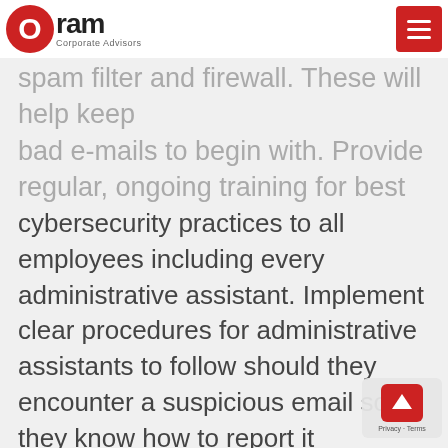Oram Corporate Advisors
spam filter and firewall. These will help keep bad e-mails to begin with. Provide regular, ongoing training for best cybersecurity practices to all employees including every administrative assistant. Implement clear procedures for administrative assistants to follow should they encounter a suspicious email so they know how to report it immediately.
Target 3: Human Resources Personnel
Human resources personnel are also common targets for cybercriminals. This is due to the fact that they are so heavily connected within a company. Not only does human resources deal with existing employees and their personally identifiable